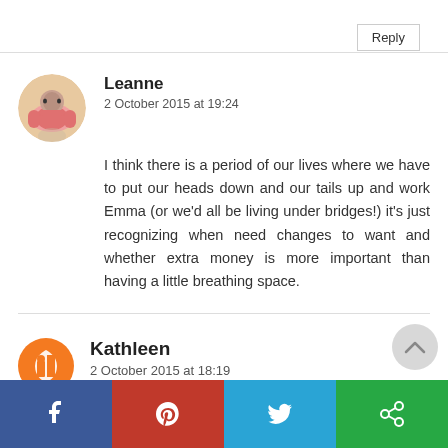Reply
Leanne
2 October 2015 at 19:24
I think there is a period of our lives where we have to put our heads down and our tails up and work Emma (or we'd all be living under bridges!) it's just recognizing when need changes to want and whether extra money is more important than having a little breathing space.
Kathleen
2 October 2015 at 18:19